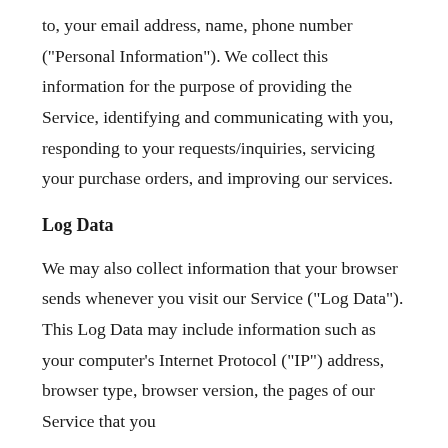to, your email address, name, phone number ("Personal Information"). We collect this information for the purpose of providing the Service, identifying and communicating with you, responding to your requests/inquiries, servicing your purchase orders, and improving our services.
Log Data
We may also collect information that your browser sends whenever you visit our Service ("Log Data"). This Log Data may include information such as your computer's Internet Protocol ("IP") address, browser type, browser version, the pages of our Service that you